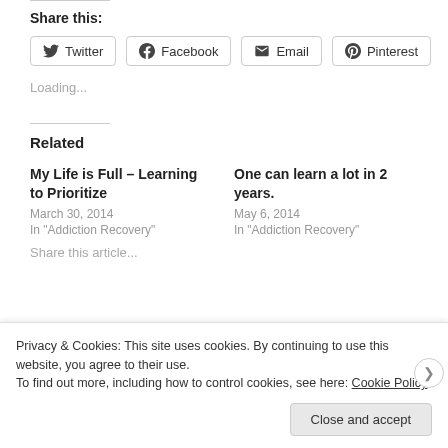Share this:
Twitter  Facebook  Email  Pinterest
Loading...
Related
My Life is Full – Learning to Prioritize
March 30, 2014
In "Addiction Recovery"
One can learn a lot in 2 years.
May 6, 2014
In "Addiction Recovery"
Privacy & Cookies: This site uses cookies. By continuing to use this website, you agree to their use.
To find out more, including how to control cookies, see here: Cookie Policy
Close and accept